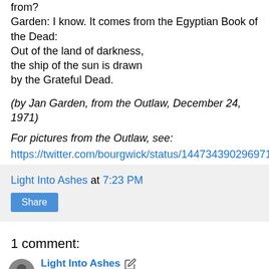from?
Garden: I know. It comes from the Egyptian Book of the Dead:
Out of the land of darkness,
the ship of the sun is drawn
by the Grateful Dead.
(by Jan Garden, from the Outlaw, December 24, 1971)
For pictures from the Outlaw, see:
https://twitter.com/bourgwick/status/1447343902969716742
Light Into Ashes at 7:23 PM
Share
1 comment:
Light Into Ashes  October 15, 2021 at 9:13 PM
The Outlaw was an underground newspaper in St. Louis,